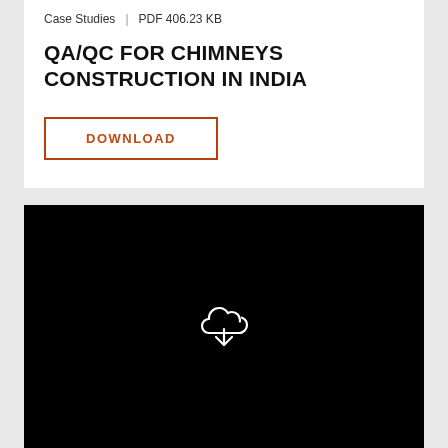Case Studies | PDF 406.23 KB
QA/QC FOR CHIMNEYS CONSTRUCTION IN INDIA
DOWNLOAD
[Figure (illustration): Black panel with a white cloud-download icon centered in it]